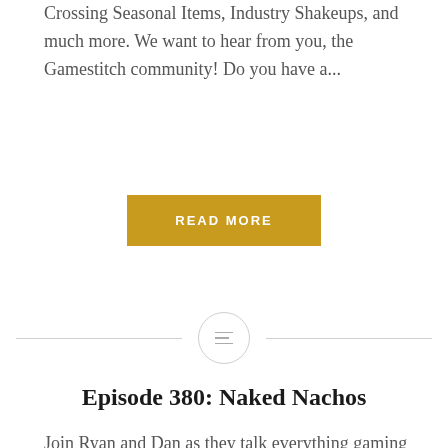Crossing Seasonal Items, Industry Shakeups, and much more. We want to hear from you, the Gamestitch community! Do you have a...
READ MORE
[Figure (other): Horizontal divider line with a circle containing a list/menu icon in the center]
Episode 380: Naked Nachos
Join Ryan and Dan as they talk everything gaming in The Official Gamestitch Podcast. In this episode “Episode 380: Naked Nachos” the guys talk about Failed Ideas, Animal